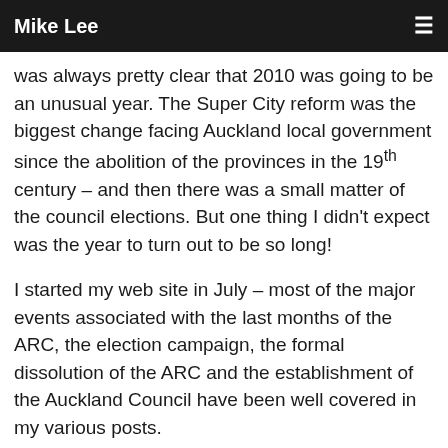Mike Lee
was always pretty clear that 2010 was going to be an unusual year. The Super City reform was the biggest change facing Auckland local government since the abolition of the provinces in the 19th century – and then there was a small matter of the council elections. But one thing I didn't expect was the year to turn out to be so long!
I started my web site in July – most of the major events associated with the last months of the ARC, the election campaign, the formal dissolution of the ARC and the establishment of the Auckland Council have been well covered in my various posts.
However the postings don't cover the whole year – and so I propose to fill in the gaps – and cover in some detail